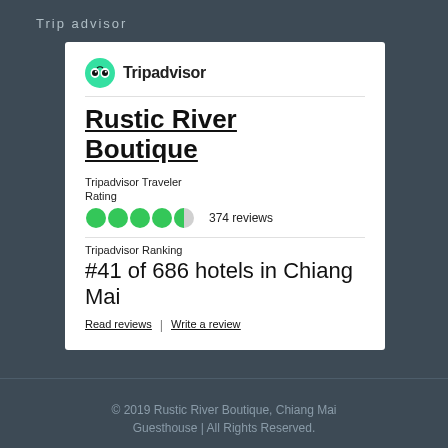Trip advisor
[Figure (logo): Tripadvisor owl logo and wordmark]
Rustic River Boutique
Tripadvisor Traveler Rating
[Figure (infographic): 4.5 green circle rating bubbles — 374 reviews]
Tripadvisor Ranking
#41 of 686 hotels in Chiang Mai
Read reviews | Write a review
© 2019 Rustic River Boutique, Chiang Mai Guesthouse | All Rights Reserved.